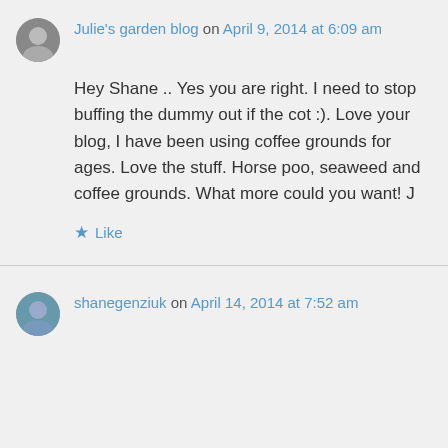Julie's garden blog on April 9, 2014 at 6:09 am
Hey Shane .. Yes you are right. I need to stop buffing the dummy out if the cot :). Love your blog, I have been using coffee grounds for ages. Love the stuff. Horse poo, seaweed and coffee grounds. What more could you want! J
Like
shanegenziuk on April 14, 2014 at 7:52 am